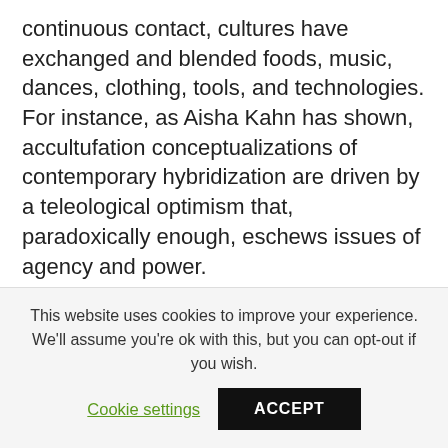continuous contact, cultures have exchanged and blended foods, music, dances, clothing, tools, and technologies. For instance, as Aisha Kahn has shown, accultufation conceptualizations of contemporary hybridization are driven by a teleological optimism that, paradoxically enough, eschews issues of agency and power.

Furthermore, for assimilation to occur, the dominant group has to accept the new group; while acculturation can occur without acceptance into the broader society. Recent research has
This website uses cookies to improve your experience. We'll assume you're ok with this, but you can opt-out if you wish.
Cookie settings   ACCEPT